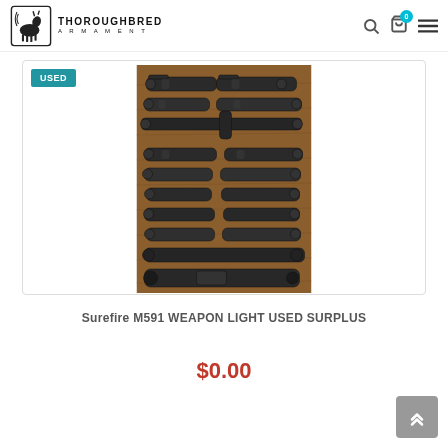Thoroughbred Armament
[Figure (photo): Product photo showing multiple Surefire M591 weapon lights laid out on a wooden surface]
Surefire M591 WEAPON LIGHT USED SURPLUS
$0.00